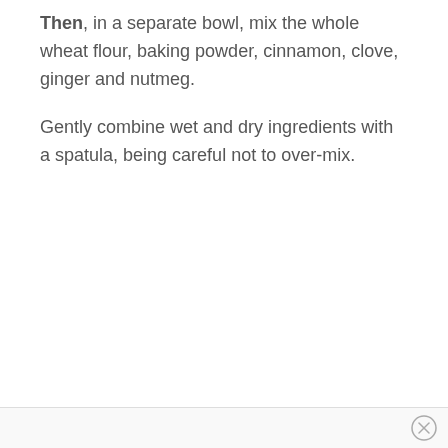Then, in a separate bowl, mix the whole wheat flour, baking powder, cinnamon, clove, ginger and nutmeg.
Gently combine wet and dry ingredients with a spatula, being careful not to over-mix.